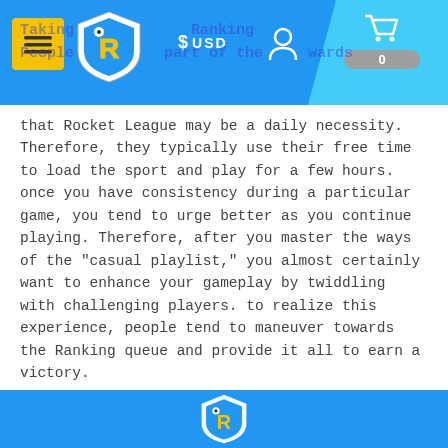[Figure (screenshot): Website navigation bar with yellow hamburger menu button, rocket league style shield logo with R, USD currency selector, user icon, and light blue cart panel with badge showing 0]
that Rocket League may be a daily necessity. Therefore, they typically use their free time to load the sport and play for a few hours. once you have consistency during a particular game, you tend to urge better as you continue playing. Therefore, after you master the ways of the "casual playlist," you almost certainly want to enhance your gameplay by twiddling with challenging players. to realize this experience, people tend to maneuver towards the Ranking queue and provide it all to earn a victory.
Besides investing tons of your time learning all the possible gameplay mechanics, you almost certainly got to follow more steps to enhance your masteries. Take a few hours to find out from players that have a far better knowledge of the sport.
[Figure (logo): Partial blue banner at bottom with rocket league style shield logo with R visible]